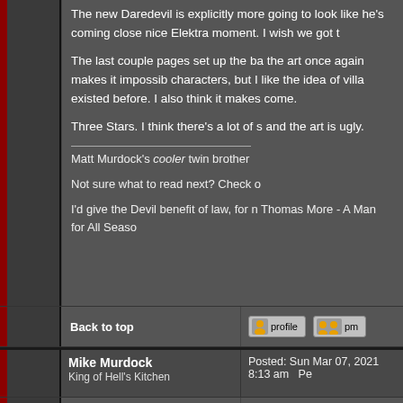The new Daredevil is explicitly more going to look like he's coming close nice Elektra moment. I wish we got t
The last couple pages set up the ba the art once again makes it impossib characters, but I like the idea of villa existed before. I also think it makes come.
Three Stars. I think there's a lot of s and the art is ugly.
Matt Murdock's cooler twin brother
Not sure what to read next? Check o
I'd give the Devil benefit of law, for n Thomas More - A Man for All Seaso
Back to top
[Figure (screenshot): Profile button and PM button in a forum interface]
Mike Murdock
King of Hell's Kitchen
Posted: Sun Mar 07, 2021 8:13 am
Joined: 08 Sep 2014
Daredevil Vol. 1 #327 - Tree of Know